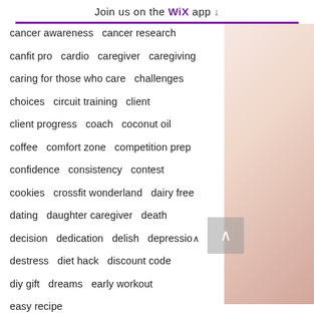Join us on the WiX app ↓
cancer awareness   cancer research
canfit pro   cardio   caregiver   caregiving
caring for those who care   challenges
choices   circuit training   client
client progress   coach   coconut oil
coffee   comfort zone   competition prep
confidence   consistency   contest
cookies   crossfit wonderland   dairy free
dating   daughter caregiver   death
decision   dedication   delish   depression
destress   diet hack   discount code
diy gift   dreams   early workout
easy recipe